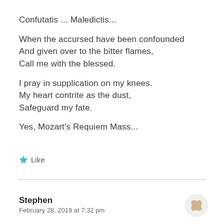Confutatis ... Maledictis...
When the accursed have been confounded
And given over to the bitter flames,
Call me with the blessed.
I pray in supplication on my knees.
My heart contrite as the dust,
Safeguard my fate.
Yes, Mozart's Requiem Mass...
Like
Stephen
February 28, 2019 at 7:32 pm